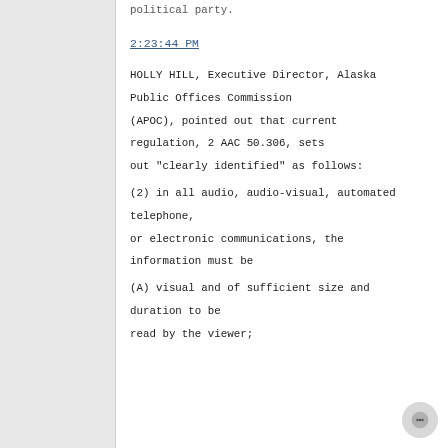political party.
2:23:44 PM
HOLLY HILL, Executive Director, Alaska Public Offices Commission (APOC), pointed out that current regulation, 2 AAC 50.306, sets out "clearly identified" as follows:
(2) in all audio, audio-visual, automated telephone, or electronic communications, the information must be
(A) visual and of sufficient size and duration to be read by the viewer;